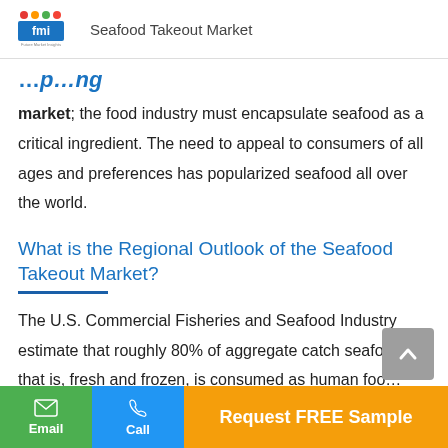Seafood Takeout Market
market; the food industry must encapsulate seafood as a critical ingredient. The need to appeal to consumers of all ages and preferences has popularized seafood all over the world.
What is the Regional Outlook of the Seafood Takeout Market?
The U.S. Commercial Fisheries and Seafood Industry estimate that roughly 80% of aggregate catch seafood, that is, fresh and frozen, is consumed as human foo…